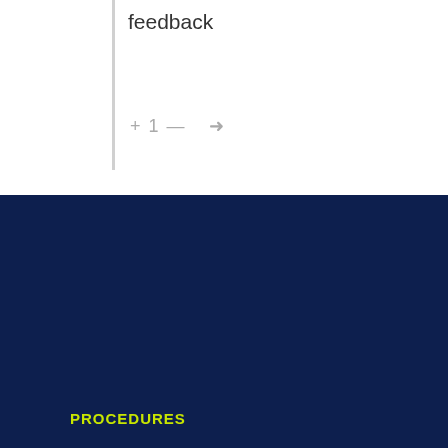feedback
+ 1 — →
PROCEDURES
Rhinoplasty in Iran
Plastic Surgery in Iran
Hair Transplant in Iran
Dentistry in Iran
…oss Surgery
O…pedics in Iran
[Figure (other): Green WhatsApp button with phone icon and 'Get in Touch' label]
[Figure (other): Dark blue circular scroll-to-top button with upward chevron]